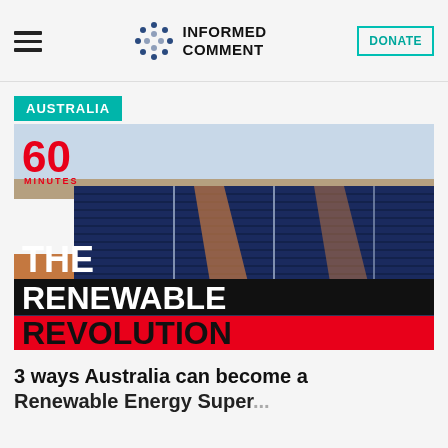Informed Comment — DONATE
AUSTRALIA
[Figure (photo): Aerial view of a large solar panel farm in Australian outback with '60 MINUTES – THE RENEWABLE REVOLUTION' overlay text]
3 ways Australia can become a Renewable Energy Super...